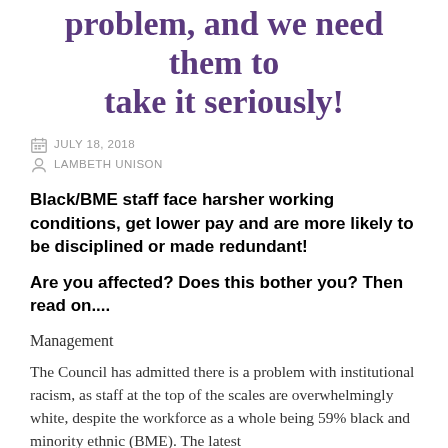problem, and we need them to take it seriously!
JULY 18, 2018
LAMBETH UNISON
Black/BME staff face harsher working conditions, get lower pay and are more likely to be disciplined or made redundant!
Are you affected? Does this bother you? Then read on....
Management
The Council has admitted there is a problem with institutional racism, as staff at the top of the scales are overwhelmingly white, despite the workforce as a whole being 59% black and minority ethnic (BME). The latest